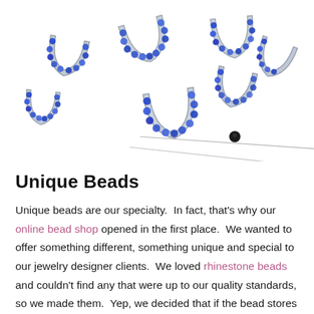[Figure (photo): Multiple silver horseshoe-shaped rhinestone beads/charms with blue crystal embellishments, scattered on a white background, with two sewing pins (one with black bead head, one with red crescent/moon shaped head) threaded through some of the horseshoe beads.]
Unique Beads
Unique beads are our specialty.  In fact, that's why our online bead shop opened in the first place.  We wanted to offer something different, something unique and special to our jewelry designer clients.  We loved rhinestone beads and couldn't find any that were up to our quality standards, so we made them.  Yep, we decided that if the bead stores couldn't